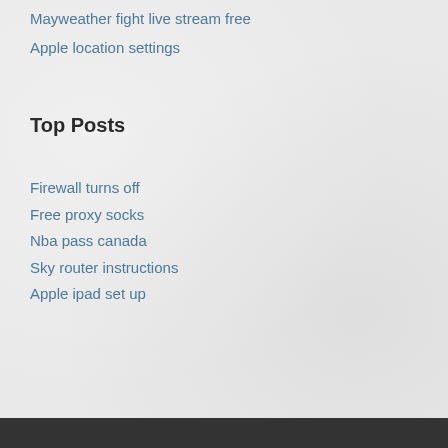Mayweather fight live stream free
Apple location settings
Top Posts
Firewall turns off
Free proxy socks
Nba pass canada
Sky router instructions
Apple ipad set up